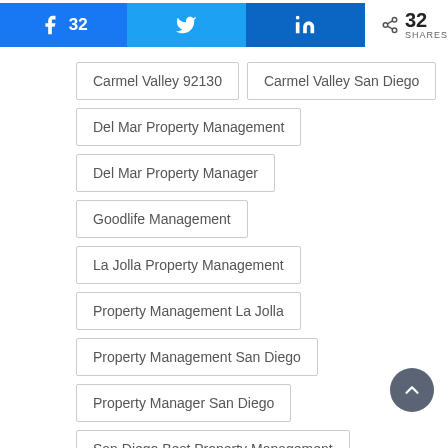[Figure (infographic): Social share bar with Facebook (32), Twitter, LinkedIn buttons and share count of 32 SHARES]
Carmel Valley 92130
Carmel Valley San Diego
Del Mar Property Management
Del Mar Property Manager
Goodlife Management
La Jolla Property Management
Property Management La Jolla
Property Management San Diego
Property Manager San Diego
San Diego Best Property Management
San Diego Premier Property Management
San Diego Property Management
San Diego Property Manager